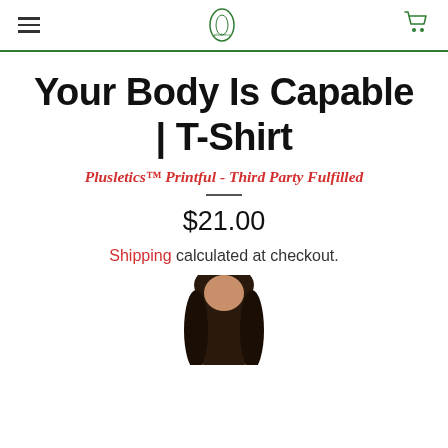Plusletics logo navigation header with hamburger menu and cart icon
Your Body Is Capable | T-Shirt
Plusletics™ Printful - Third Party Fulfilled
$21.00
Shipping calculated at checkout.
[Figure (photo): Partial view of a dark-haired woman model wearing the t-shirt, cropped at top of head]